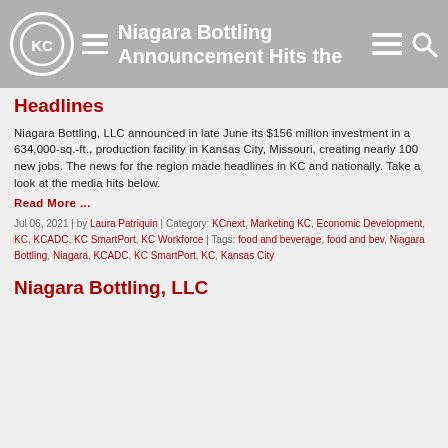Niagara Bottling Announcement Hits the Headlines
Niagara Bottling Announcement Hits the Headlines
Niagara Bottling, LLC announced in late June its $156 million investment in a 634,000-sq.-ft., production facility in Kansas City, Missouri, creating nearly 100 new jobs. The news for the region made headlines in KC and nationally. Take a look at the media hits below.
Read More ...
Jul 06, 2021 | by Laura Patriquin | Category: KCnext, Marketing KC, Economic Development, KC, KCADC, KC SmartPort, KC Workforce | Tags: food and beverage, food and bev, Niagara Bottling, Niagara, KCADC, KC SmartPort, KC, Kansas City
Niagara Bottling, LLC